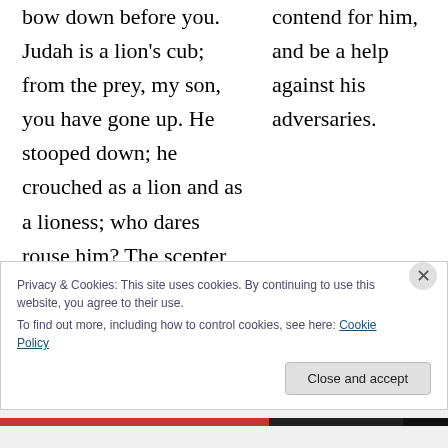bow down before you. Judah is a lion's cub; from the prey, my son, you have gone up. He stooped down; he crouched as a lion and as a lioness; who dares rouse him? The scepter shall not depart from Judah, nor the ruler's
contend for him, and be a help against his adversaries.
Privacy & Cookies: This site uses cookies. By continuing to use this website, you agree to their use.
To find out more, including how to control cookies, see here: Cookie Policy